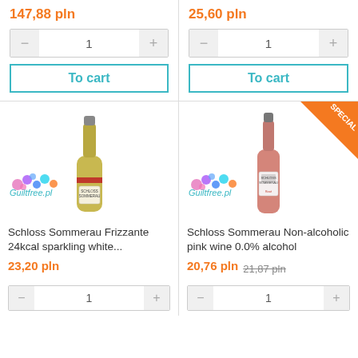147,88 pln
25,60 pln
To cart
To cart
[Figure (photo): Bottle of Schloss Sommerau Frizzante sparkling white wine with Guiltfree.pl watermark]
[Figure (photo): Bottle of Schloss Sommerau Non-alcoholic pink wine with SPECIAL ribbon and Guiltfree.pl watermark]
Schloss Sommerau Frizzante 24kcal sparkling white...
Schloss Sommerau Non-alcoholic pink wine 0.0% alcohol
23,20 pln
20,76 pln  21,87 pln